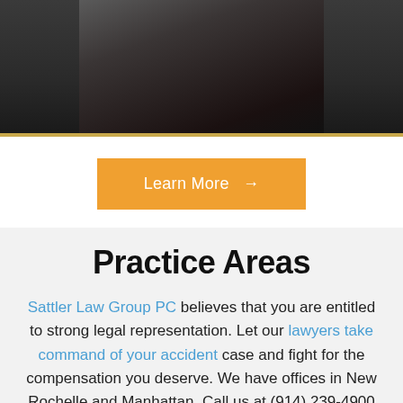[Figure (photo): Partial photo of a person in dark clothing, cropped at the top of the page with a gold/tan border at the bottom]
Learn More →
Practice Areas
Sattler Law Group PC believes that you are entitled to strong legal representation. Let our lawyers take command of your accident case and fight for the compensation you deserve. We have offices in New Rochelle and Manhattan. Call us at (914) 239-4900 or (212) 766-4484 to arrange your free consultation or